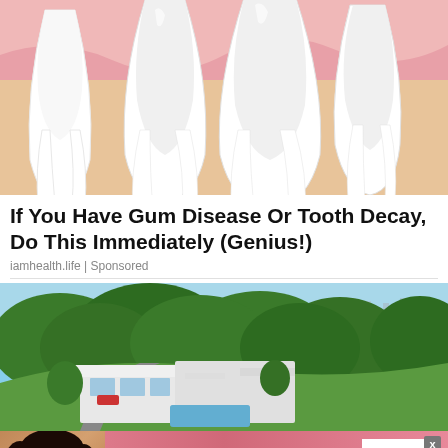[Figure (illustration): Medical illustration of white tooth roots/teeth cross-section with pink gum tissue and beige jaw bone background]
If You Have Gum Disease Or Tooth Decay, Do This Immediately (Genius!)
iamhealth.life | Sponsored
[Figure (photo): Aerial photo of a modern luxury white house/villa on a hillside surrounded by green trees with city skyline in background]
[Figure (other): Victoria's Secret advertisement banner with model, VS logo, text 'SHOP THE COLLECTION' and 'SHOP NOW' button]